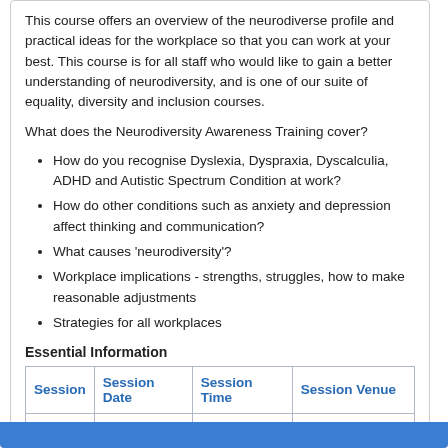This course offers an overview of the neurodiverse profile and practical ideas for the workplace so that you can work at your best. This course is for all staff who would like to gain a better understanding of neurodiversity, and is one of our suite of equality, diversity and inclusion courses.
What does the Neurodiversity Awareness Training cover?
How do you recognise Dyslexia, Dyspraxia, Dyscalculia, ADHD and Autistic Spectrum Condition at work?
How do other conditions such as anxiety and depression affect thinking and communication?
What causes 'neurodiversity'?
Workplace implications - strengths, struggles, how to make reasonable adjustments
Strategies for all workplaces
Essential Information
| Session | Session Date | Session Time | Session Venue |
| --- | --- | --- | --- |
| 1 | 14 June 2022 | 09:30 - 13:00 | Remote Corporate |